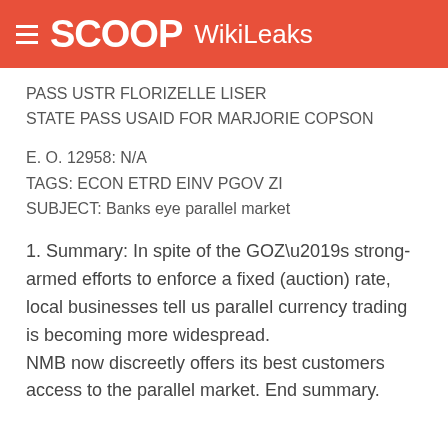SCOOP WikiLeaks
PASS USTR FLORIZELLE LISER
STATE PASS USAID FOR MARJORIE COPSON
E. O. 12958: N/A
TAGS: ECON ETRD EINV PGOV ZI
SUBJECT: Banks eye parallel market
1. Summary: In spite of the GOZ’s strong-armed efforts to enforce a fixed (auction) rate, local businesses tell us parallel currency trading is becoming more widespread. NMB now discreetly offers its best customers access to the parallel market. End summary.